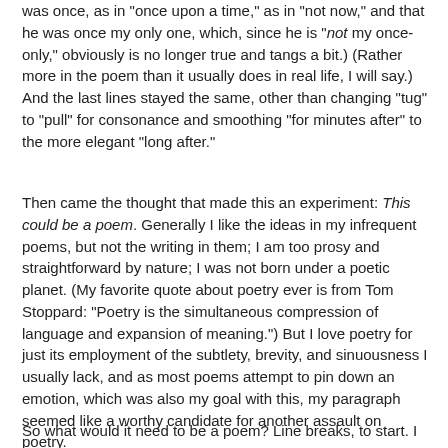was once, as in "once upon a time," as in "not now," and that he was once my only one, which, since he is "not my once-only," obviously is no longer true and tangs a bit.) (Rather more in the poem than it usually does in real life, I will say.) And the last lines stayed the same, other than changing "tug" to "pull" for consonance and smoothing "for minutes after" to the more elegant "long after."
Then came the thought that made this an experiment: This could be a poem. Generally I like the ideas in my infrequent poems, but not the writing in them; I am too prosy and straightforward by nature; I was not born under a poetic planet. (My favorite quote about poetry ever is from Tom Stoppard: "Poetry is the simultaneous compression of language and expansion of meaning.") But I love poetry for just its employment of the subtlety, brevity, and sinuousness I usually lack, and as most poems attempt to pin down an emotion, which was also my goal with this, my paragraph seemed like a worthy candidate for another assault on poetry.
So what would it need to be a poem? Line breaks, to start. I